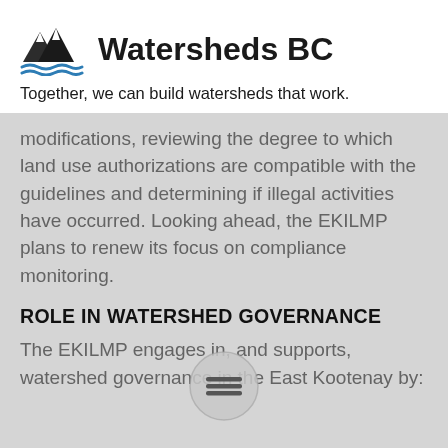[Figure (logo): Watersheds BC logo with mountain and water waves icon]
Watersheds BC
Together, we can build watersheds that work.
modifications, reviewing the degree to which land use authorizations are compatible with the guidelines and determining if illegal activities have occurred. Looking ahead, the EKILMP plans to renew its focus on compliance monitoring.
ROLE IN WATERSHED GOVERNANCE
The EKILMP engages in, and supports, watershed governance in the East Kootenay by: